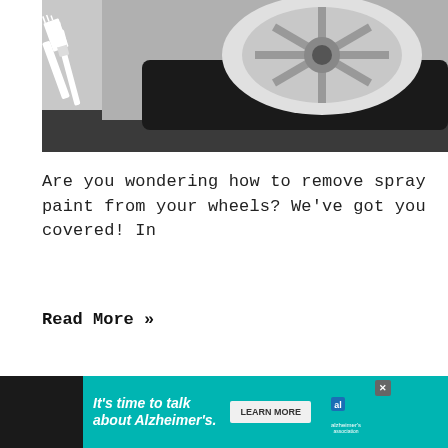[Figure (photo): Close-up photo of a car wheel/tire with a white paint brush icon overlaid in the lower-left corner]
Are you wondering how to remove spray paint from your wheels? We've got you covered! In
Read More »
[Figure (infographic): Advertisement banner: teal background with text 'It's time to talk about Alzheimer's.' with a LEARN MORE button and Alzheimer's Association logo]